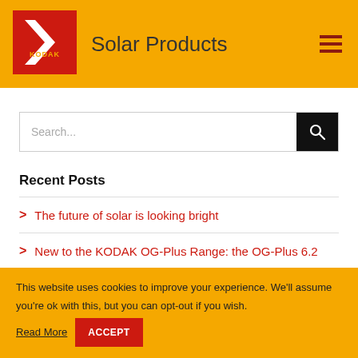KODAK Solar Products
[Figure (logo): Kodak logo: red square with white K chevron and yellow KODAK text]
Solar Products
Search...
Recent Posts
The future of solar is looking bright
New to the KODAK OG-Plus Range: the OG-Plus 6.2
Making your small business more sustainable
This website uses cookies to improve your experience. We'll assume you're ok with this, but you can opt-out if you wish. Read More   ACCEPT